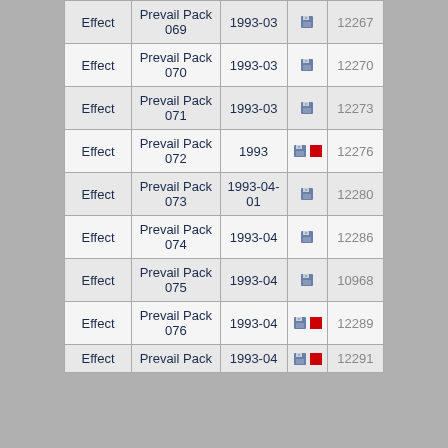| Type | Name | Date | Icons | ID |
| --- | --- | --- | --- | --- |
| Effect | Prevail Pack 069 | 1993-03 | disk | 12267 |
| Effect | Prevail Pack 070 | 1993-03 | disk | 12270 |
| Effect | Prevail Pack 071 | 1993-03 | disk | 12273 |
| Effect | Prevail Pack 072 | 1993 | disk+red | 12276 |
| Effect | Prevail Pack 073 | 1993-04-01 | disk | 12280 |
| Effect | Prevail Pack 074 | 1993-04 | disk | 12286 |
| Effect | Prevail Pack 075 | 1993-04 | disk | 10968 |
| Effect | Prevail Pack 076 | 1993-04 | disk+red | 12289 |
| Effect | Prevail Pack | 1993-04 | disk+red | 12291 |